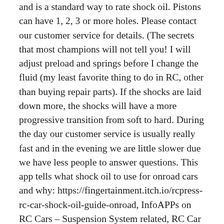and is a standard way to rate shock oil. Pistons can have 1, 2, 3 or more holes. Please contact our customer service for details. (The secrets that most champions will not tell you! I will adjust preload and springs before I change the fluid (my least favorite thing to do in RC, other than buying repair parts). If the shocks are laid down more, the shocks will have a more progressive transition from soft to hard. During the day our customer service is usually really fast and in the evening we are little slower due we have less people to answer questions. This app tells what shock oil to use for onroad cars and why: https://fingertainment.itch.io/rcpress-rc-car-shock-oil-guide-onroad, InfoAPPs on RC Cars – Suspension System related, RC Car Shock Oil Guide – Onroad (sponsored by 3Racing), RC Car Tires & Wheels (sponsored by 3Racing), Find the minimum cutoff voltage of a RC lipo pack, Find the proper storage voltage of a Lipo pack, Find the fully charged voltage of a RC lipo pack, Find the proper cell